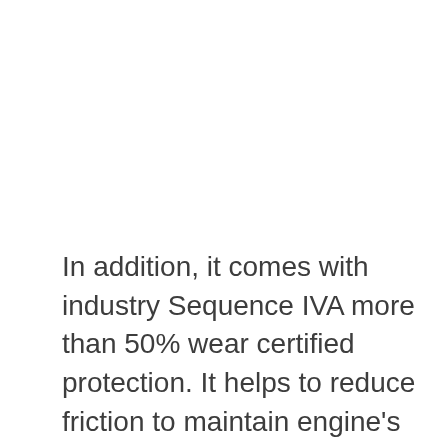In addition, it comes with industry Sequence IVA more than 50% wear certified protection. It helps to reduce friction to maintain engine's action.